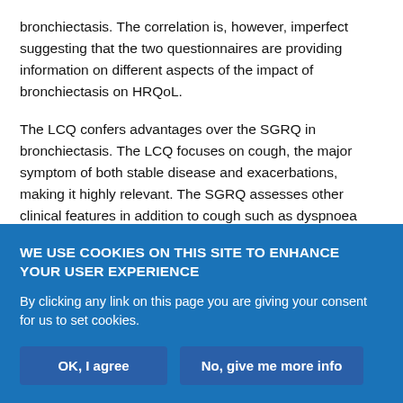bronchiectasis. The correlation is, however, imperfect suggesting that the two questionnaires are providing information on different aspects of the impact of bronchiectasis on HRQoL.
The LCQ confers advantages over the SGRQ in bronchiectasis. The LCQ focuses on cough, the major symptom of both stable disease and exacerbations, making it highly relevant. The SGRQ assesses other clinical features in addition to cough such as dyspnoea and wheeze, symptoms which are less frequently present in bronchiectasis; a previous study found that dyspnoea was present in only 62% of patients at presentation compared with cough in 98%
WE USE COOKIES ON THIS SITE TO ENHANCE YOUR USER EXPERIENCE
By clicking any link on this page you are giving your consent for us to set cookies.
OK, I agree
No, give me more info